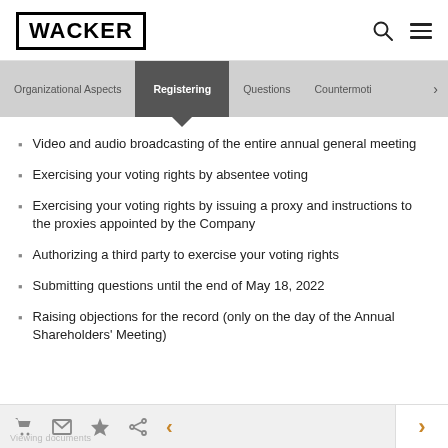WACKER
[Figure (screenshot): Navigation bar with tabs: Organizational Aspects, Registering (active/selected), Questions, Countermoti, and a right arrow]
Video and audio broadcasting of the entire annual general meeting
Exercising your voting rights by absentee voting
Exercising your voting rights by issuing a proxy and instructions to the proxies appointed by the Company
Authorizing a third party to exercise your voting rights
Submitting questions until the end of May 18, 2022
Raising objections for the record (only on the day of the Annual Shareholders' Meeting)
Viewing documents